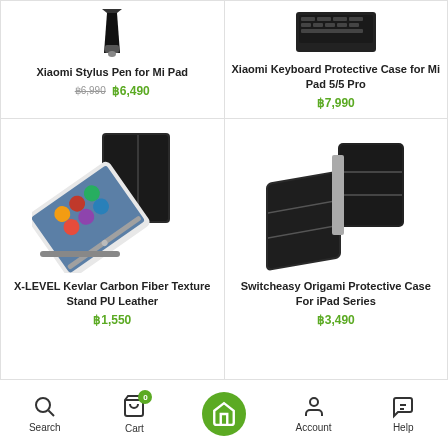[Figure (photo): Xiaomi Stylus Pen for Mi Pad product image (top, partial)]
[Figure (photo): Xiaomi Keyboard Protective Case for Mi Pad 5/5 Pro product image (top, partial)]
Xiaomi Stylus Pen for Mi Pad
฿6,990 ฿6,490
Xiaomi Keyboard Protective Case for Mi Pad 5/5 Pro
฿7,990
[Figure (photo): X-LEVEL Kevlar Carbon Fiber Texture Stand PU Leather case with iPad propped open]
[Figure (photo): Switcheasy Origami Protective Case For iPad Series shown in two positions]
X-LEVEL Kevlar Carbon Fiber Texture Stand PU Leather
฿1,550
Switcheasy Origami Protective Case For iPad Series
฿3,490
Search  Cart  Home  Account  Help